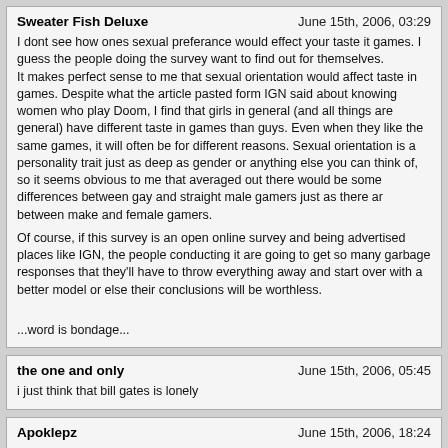Sweater Fish Deluxe | June 15th, 2006, 03:29
I dont see how ones sexual preferance would effect your taste it games. I guess the people doing the survey want to find out for themselves.
It makes perfect sense to me that sexual orientation would affect taste in games. Despite what the article pasted form IGN said about knowing women who play Doom, I find that girls in general (and all things are general) have different taste in games than guys. Even when they like the same games, it will often be for different reasons. Sexual orientation is a personality trait just as deep as gender or anything else you can think of, so it seems obvious to me that averaged out there would be some differences between gay and straight male gamers just as there ar between make and female gamers.

Of course, if this survey is an open online survey and being advertised places like IGN, the people conducting it are going to get so many garbage responses that they'll have to throw everything away and start over with a better model or else their conclusions will be worthless.

...word is bondage...
the one and only | June 15th, 2006, 05:45
i just think that bill gates is lonely
Apoklepz | June 15th, 2006, 18:24
Well, if I'm "happy" while I get my game on, does that count? After all the word "gay" first and foremost means to be overly exited or happy....As in: "What a gay time I had at the fair!" ...After that, there's a modern meaning that's just plain old homosexual. I don't have anything with or against gay people, I just don't see why "happy" gamers like me can't participate from the survey. XP

Anyways, my wife's cousin from Venezuela is gay, and I was surprised how much he knew about Resident Evil, Final Fantasy and Smash Bros. when he